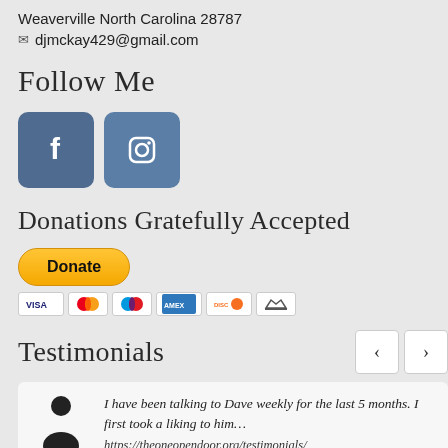Weaverville North Carolina 28787
✉ djmckay429@gmail.com
Follow Me
[Figure (illustration): Facebook and Instagram social media icon buttons in blue/steel color]
Donations Gratefully Accepted
[Figure (illustration): PayPal Donate button in yellow/gold with payment card icons below (Visa, Mastercard, Maestro, AmEx, Discover, bank transfer)]
Testimonials
I have been talking to Dave weekly for the last 5 months. I first took a liking to him… https://theoneopendoor.org/testimonials/